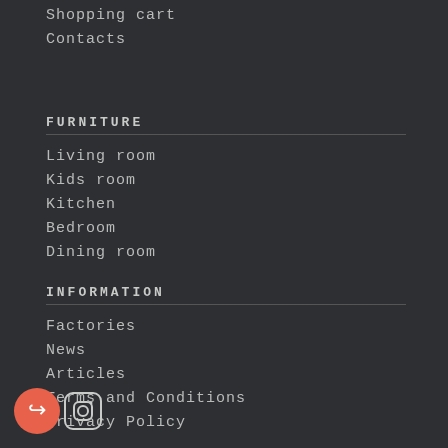Shopping cart
Contacts
FURNITURE
Living room
Kids room
Kitchen
Bedroom
Dining room
INFORMATION
Factories
News
Articles
Terms and Conditions
Privacy Policy
[Figure (illustration): Share button (red circular icon with arrow) and Instagram icon]